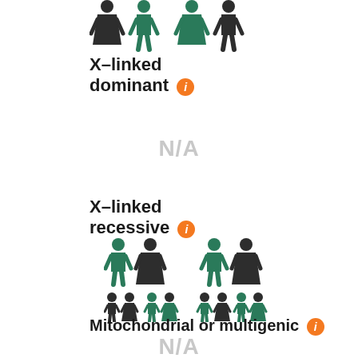[Figure (illustration): X-linked dominant inheritance pattern showing parent figures (dark and teal female/male silhouettes) at top]
X-linked dominant ℹ
N/A
X-linked recessive ℹ
[Figure (illustration): X-linked recessive inheritance pattern showing parent and children silhouettes in teal and dark brown]
Mitochondrial or multigenic ℹ
N/A